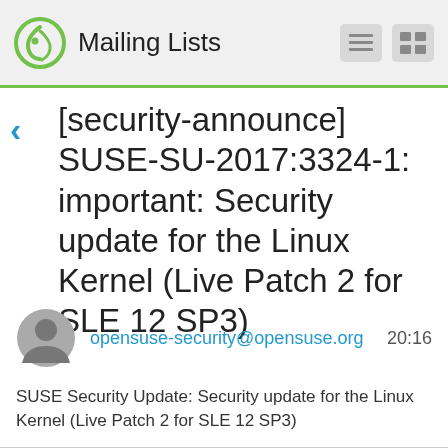Mailing Lists
[security-announce] SUSE-SU-2017:3324-1: important: Security update for the Linux Kernel (Live Patch 2 for SLE 12 SP3)
opensuse-security@opensuse.org   20:16
SUSE Security Update: Security update for the Linux Kernel (Live Patch 2 for SLE 12 SP3)